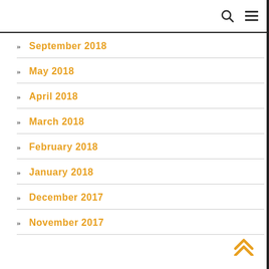September 2018
May 2018
April 2018
March 2018
February 2018
January 2018
December 2017
November 2017